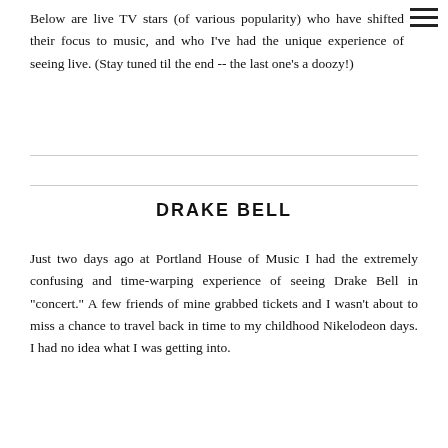Below are live TV stars (of various popularity) who have shifted their focus to music, and who I've had the unique experience of seeing live. (Stay tuned til the end -- the last one's a doozy!)
DRAKE BELL
Just two days ago at Portland House of Music I had the extremely confusing and time-warping experience of seeing Drake Bell in "concert." A few friends of mine grabbed tickets and I wasn't about to miss a chance to travel back in time to my childhood Nikelodeon days. I had no idea what I was getting into.